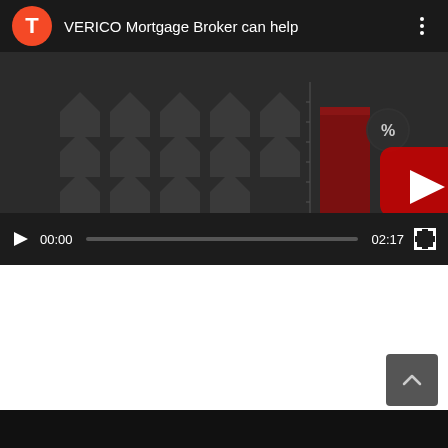[Figure (screenshot): YouTube video player screenshot showing 'VERICO Mortgage Broker can help' video. The video thumbnail shows a dark background with house/home icons arranged in a grid and a bar chart with percentage symbol. A red YouTube play button is visible in the center. The video player controls show play button, timestamp 00:00, progress bar, total duration 02:17, and fullscreen button. An orange avatar circle with letter T is shown in the top left.]